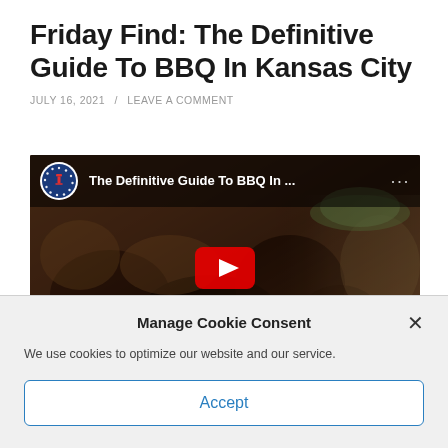Friday Find: The Definitive Guide To BBQ In Kansas City
JULY 16, 2021 / LEAVE A COMMENT
[Figure (screenshot): YouTube video thumbnail showing BBQ food close-up with a man in a green cap on the right, video title 'The Definitive Guide To BBQ In ...' with Barstool Sports logo and YouTube play button overlay]
Manage Cookie Consent
We use cookies to optimize our website and our service.
Accept